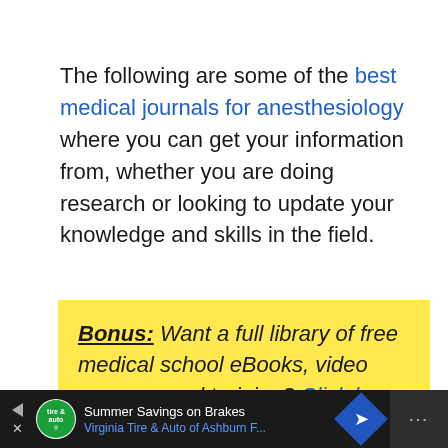The following are some of the best medical journals for anesthesiology where you can get your information from, whether you are doing research or looking to update your knowledge and skills in the field.
Bonus: Want a full library of free medical school eBooks, video courses, and training? Click here to get access to your free
[Figure (other): Advertisement bar at bottom: Summer Savings on Brakes - Virginia Tire & Auto of Ashburn F...]